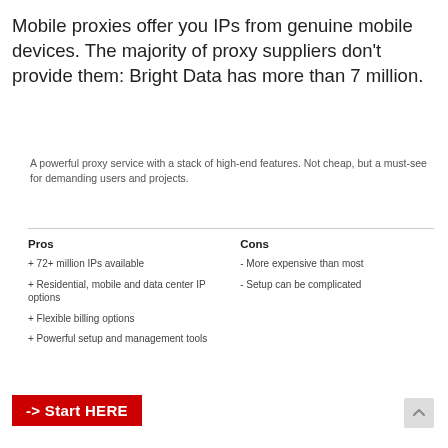Mobile proxies offer you IPs from genuine mobile devices. The majority of proxy suppliers don't provide them: Bright Data has more than 7 million.
A powerful proxy service with a stack of high-end features. Not cheap, but a must-see for demanding users and projects.
+ 72+ million IPs available
+ Residential, mobile and data center IP options
+ Flexible billing options
+ Powerful setup and management tools
- More expensive than most
- Setup can be complicated
-> Start HERE